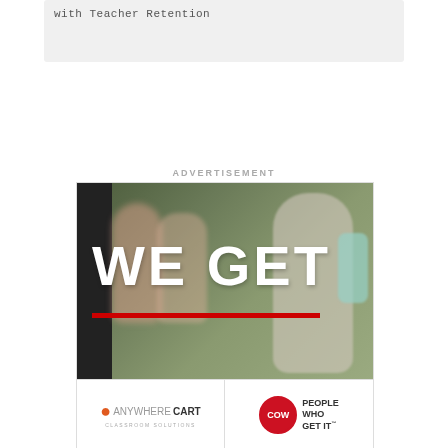with Teacher Retention
ADVERTISEMENT
[Figure (photo): Advertisement for AnywhereCart and COW (Computers on Wheels) showing a classroom scene with children, large white text 'WE GET' with a red underline, and two brand logos at the bottom: AnywhereCart Classroom Solutions and COW - People Who Get It.]